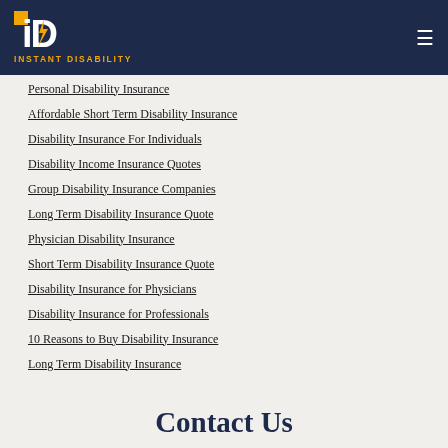INSTANT DISABILITY
Personal Disability Insurance
Affordable Short Term Disability Insurance
Disability Insurance For Individuals
Disability Income Insurance Quotes
Group Disability Insurance Companies
Long Term Disability Insurance Quote
Physician Disability Insurance
Short Term Disability Insurance Quote
Disability Insurance for Physicians
Disability Insurance for Professionals
10 Reasons to Buy Disability Insurance
Long Term Disability Insurance
Contact Us